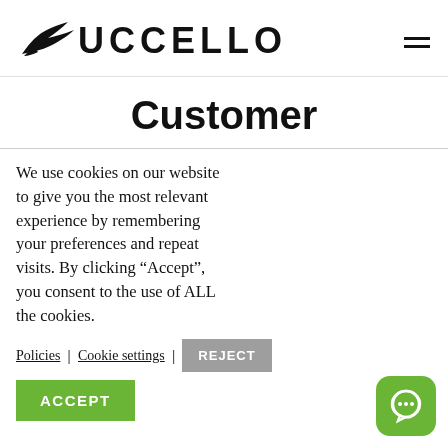UCCELLO
Customer
We use cookies on our website to give you the most relevant experience by remembering your preferences and repeat visits. By clicking “Accept”, you consent to the use of ALL the cookies.
Policies | Cookie settings | REJECT
ACCEPT